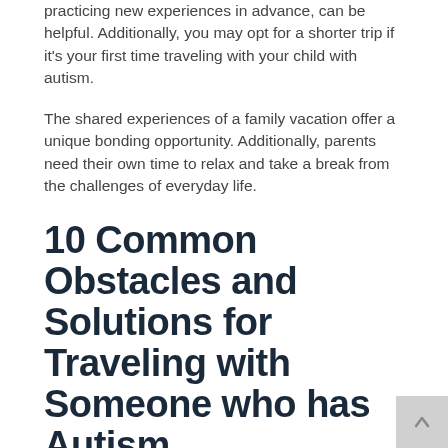practicing new experiences in advance, can be helpful. Additionally, you may opt for a shorter trip if it's your first time traveling with your child with autism.
The shared experiences of a family vacation offer a unique bonding opportunity. Additionally, parents need their own time to relax and take a break from the challenges of everyday life.
10 Common Obstacles and Solutions for Traveling with Someone who has Autism
Autism Problem: Leaving home and a familiar environment